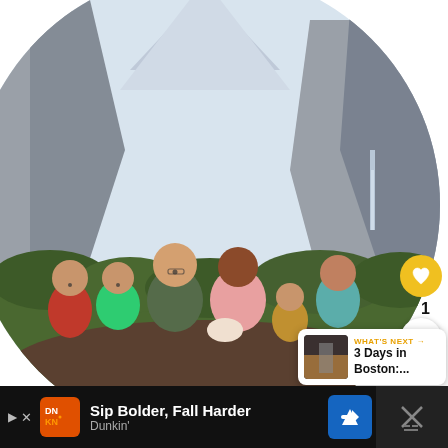[Figure (photo): A family of six (two parents and four children, one a newborn) posed in front of Yosemite Valley with El Capitan and Half Dome visible in the background, displayed in a large circular crop. A yellow heart/like button with count '1' and a share button are overlaid on the right side.]
1
[Figure (screenshot): WHAT'S NEXT card with thumbnail image and text '3 Days in Boston:...']
WHAT'S NEXT → 3 Days in Boston:...
[Figure (photo): Advertisement bar at bottom: Dunkin' Donuts ad with text 'Sip Bolder, Fall Harder' and Dunkin' branding, with a navigation arrow CTA button and a dark right panel with X close icon.]
Sip Bolder, Fall Harder
Dunkin'